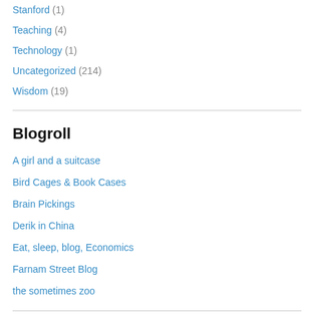Stanford (1)
Teaching (4)
Technology (1)
Uncategorized (214)
Wisdom (19)
Blogroll
A girl and a suitcase
Bird Cages & Book Cases
Brain Pickings
Derik in China
Eat, sleep, blog, Economics
Farnam Street Blog
the sometimes zoo
Cool websites...